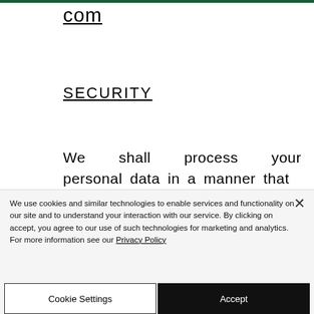com
SECURITY
We shall process your personal data in a manner that ensures appropriate
We use cookies and similar technologies to enable services and functionality on our site and to understand your interaction with our service. By clicking on accept, you agree to our use of such technologies for marketing and analytics. For more information see our Privacy Policy
Cookie Settings
Accept